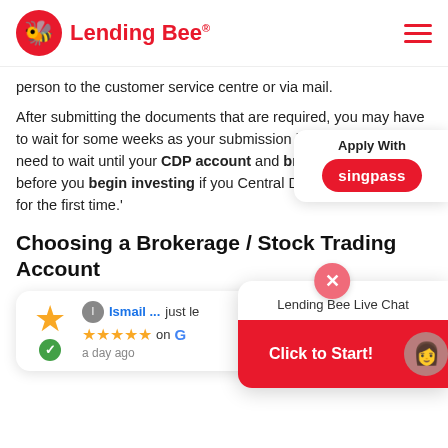Lending Bee
person to the customer service centre or via mail.
After submitting the documents that are required, you may have to wait for some weeks as your submission is processed. You need to wait until your CDP account and brokerage both be ready before you begin investing if you are opening a Central Depository Account for the first time.'
[Figure (other): Apply With Singpass button widget]
Choosing a Brokerage / Stock Trading Account
[Figure (other): Lending Bee Live Chat widget with close button and Click to Start button]
[Figure (other): Review card showing Ismail with 5 star rating on Google, a day ago]